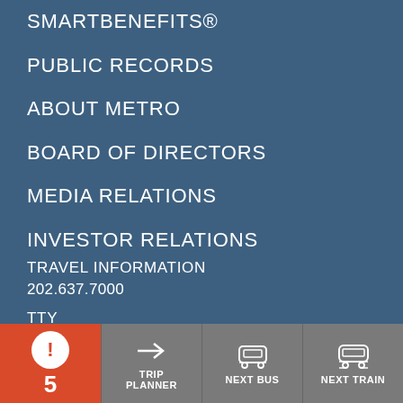SMARTBENEFITS®
PUBLIC RECORDS
ABOUT METRO
BOARD OF DIRECTORS
MEDIA RELATIONS
INVESTOR RELATIONS
TRAVEL INFORMATION
202.637.7000
TTY
202.962.2033
TRANSIT POLICE
202.962.2...
TEXT:
MYMTPD...
[Figure (screenshot): Bottom navigation toolbar with alert badge showing 5, Trip Planner, Next Bus, Next Train buttons]